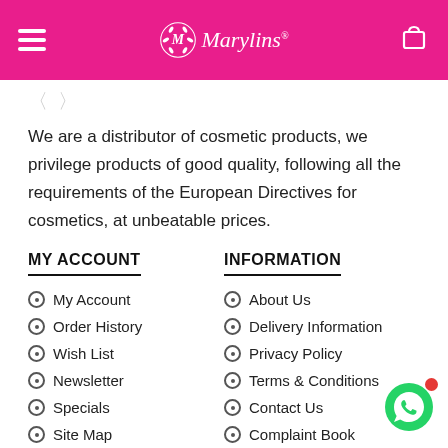Marylins
We are a distributor of cosmetic products, we privilege products of good quality, following all the requirements of the European Directives for cosmetics, at unbeatable prices.
MY ACCOUNT
INFORMATION
My Account
Order History
Wish List
Newsletter
Specials
Site Map
About Us
Delivery Information
Privacy Policy
Terms & Conditions
Contact Us
Complaint Book